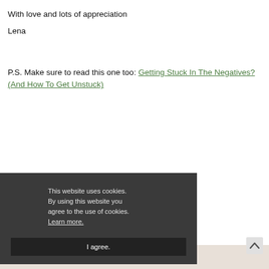With love and lots of appreciation
Lena
P.S. Make sure to read this one too: Getting Stuck In The Negatives? (And How To Get Unstuck)
[Figure (screenshot): Cookie consent overlay with dark background reading 'This website uses cookies. By using this website you agree to the use of cookies. Learn more.' and an 'I agree.' button below. In the background, partially visible text reads 'You might also like'.]